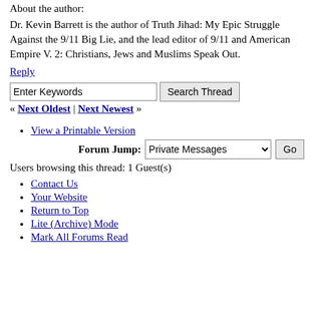About the author:
Dr. Kevin Barrett is the author of Truth Jihad: My Epic Struggle Against the 9/11 Big Lie, and the lead editor of 9/11 and American Empire V. 2: Christians, Jews and Muslims Speak Out.
Reply
Enter Keywords | Search Thread
« Next Oldest | Next Newest »
View a Printable Version
Forum Jump: Private Messages Go
Users browsing this thread: 1 Guest(s)
Contact Us
Your Website
Return to Top
Lite (Archive) Mode
Mark All Forums Read